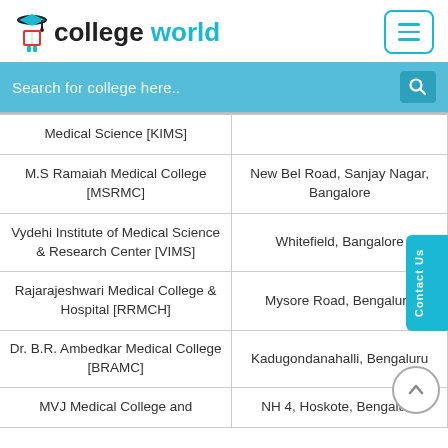college world — website header with logo and hamburger menu
Search for college here..
| College Name | Location |
| --- | --- |
| Medical Science [KIMS] |  |
| M.S Ramaiah Medical College [MSRMC] | New Bel Road, Sanjay Nagar, Bangalore |
| Vydehi Institute of Medical Science & Research Center [VIMS] | Whitefield, Bangalore |
| Rajarajeshwari Medical College & Hospital [RRMCH] | Mysore Road, Bengaluru |
| Dr. B.R. Ambedkar Medical College [BRAMC] | Kadugondanahalli, Bengaluru |
| MVJ Medical College and | NH 4, Hoskote, Bengaluru |